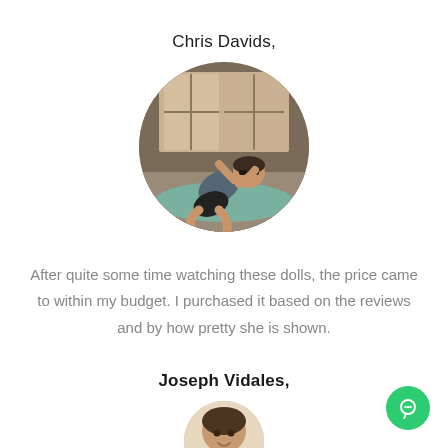Chris Davids,
[Figure (photo): Circular avatar photo of a man doing sit-ups/crunches in a gym setting]
After quite some time watching these dolls, the price came to within my budget. I purchased it based on the reviews and by how pretty she is shown.
Joseph Vidales,
[Figure (photo): Partial circular avatar photo of Joseph Vidales, partially visible at bottom of page]
[Figure (other): Green circular chat/support button in bottom-right corner]